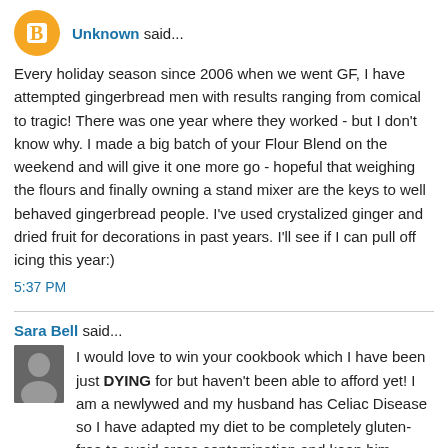Unknown said...
Every holiday season since 2006 when we went GF, I have attempted gingerbread men with results ranging from comical to tragic! There was one year where they worked - but I don't know why. I made a big batch of your Flour Blend on the weekend and will give it one more go - hopeful that weighing the flours and finally owning a stand mixer are the keys to well behaved gingerbread people. I've used crystalized ginger and dried fruit for decorations in past years. I'll see if I can pull off icing this year:)
5:37 PM
Sara Bell said...
I would love to win your cookbook which I have been just DYING for but haven't been able to afford yet! I am a newlywed and my husband has Celiac Disease so I have adapted my diet to be completely gluten-free to avoid cross contamination and keep him healthier... but I also cook quite often for my little sister with Down Syndrome so I have to thank you for those Gingerbread